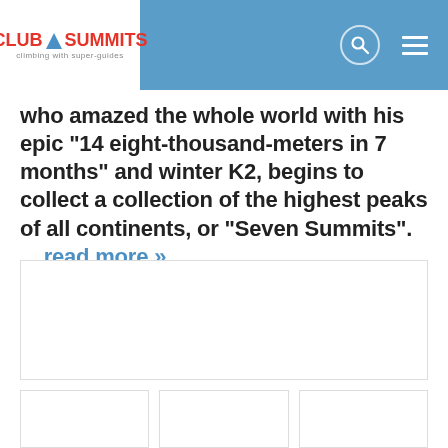CLUB 7 SUMMITS — climbing with super-guides
who amazed the whole world with his epic "14 eight-thousand-meters in 7 months" and winter K2, begins to collect a collection of the highest peaks of all continents, or "Seven Summits". ... read more »
[Figure (photo): Large image placeholder (white box with border)]
[Figure (photo): Small image placeholder 1]
[Figure (photo): Small image placeholder 2]
[Figure (photo): Small image placeholder 3]